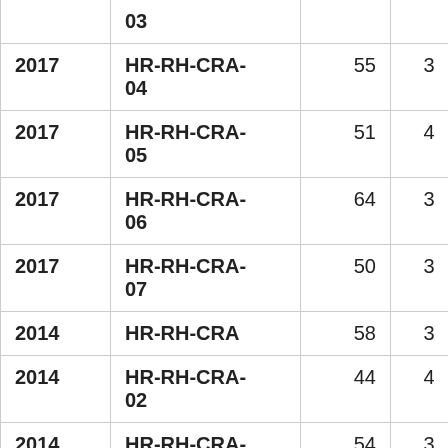| Year | Code | Col3 | Col4 |
| --- | --- | --- | --- |
|  | 03 |  |  |
| 2017 | HR-RH-CRA-04 | 55 | 3 |
| 2017 | HR-RH-CRA-05 | 51 | 4 |
| 2017 | HR-RH-CRA-06 | 64 | 3 |
| 2017 | HR-RH-CRA-07 | 50 | 3 |
| 2014 | HR-RH-CRA | 58 | 3 |
| 2014 | HR-RH-CRA-02 | 44 | 4 |
| 2014 | HR-RH-CRA- | 54 | 3 |